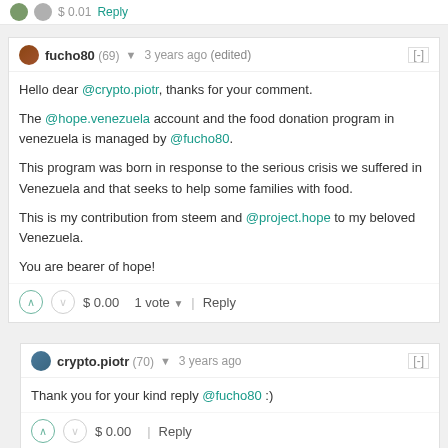fucho80 (69) ▼  3 years ago (edited)  [-]
Hello dear @crypto.piotr, thanks for your comment.

The @hope.venezuela account and the food donation program in venezuela is managed by @fucho80.

This program was born in response to the serious crisis we suffered in Venezuela and that seeks to help some families with food.

This is my contribution from steem and @project.hope to my beloved Venezuela.

You are bearer of hope!
$ 0.00   1 vote ▼   Reply
crypto.piotr (70) ▼  3 years ago  [-]
Thank you for your kind reply @fucho80 :)
$ 0.00   Reply